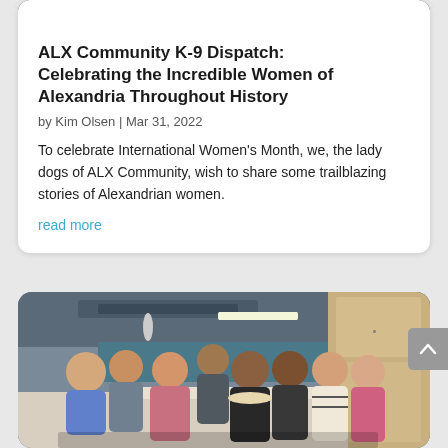[Figure (photo): Top portion of an article card showing a dark textured background image (partially cropped at top)]
ALX Community K-9 Dispatch: Celebrating the Incredible Women of Alexandria Throughout History
by Kim Olsen | Mar 31, 2022
To celebrate International Women's Month, we, the lady dogs of ALX Community, wish to share some trailblazing stories of Alexandrian women.
read more
[Figure (photo): Group photo of approximately 7-8 people (men and women) standing together in what appears to be an office kitchen/break room area. One person is holding a tray of food. The space has exposed ductwork ceiling, light wooden cabinets, and office equipment visible.]